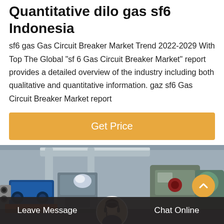Quantitative dilo gas sf6 Indonesia
sf6 gas Gas Circuit Breaker Market Trend 2022-2029 With Top The Global "sf 6 Gas Circuit Breaker Market" report provides a detailed overview of the industry including both qualitative and quantitative information. gaz sf6 Gas Circuit Breaker Market report
[Figure (other): Orange 'Get Price' button]
[Figure (photo): Industrial equipment including gas circuit breakers and machinery in a factory setting]
Leave Message   Chat Online